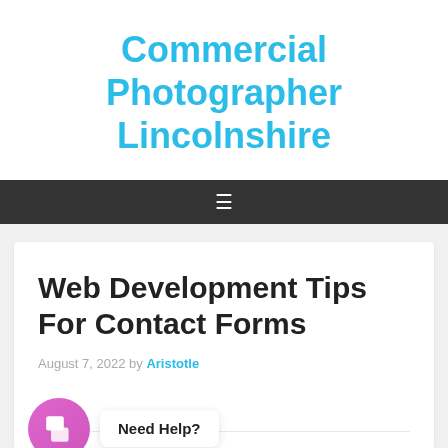Commercial Photographer Lincolnshire
[Figure (other): Dark navigation bar with hamburger menu icon (three horizontal lines) centered on dark background]
Web Development Tips For Contact Forms
August 7, 2022 by Aristotle
[Figure (other): Pink circular chat widget icon with white chat bubble icon, and white speech bubble tooltip saying 'Need Help?']